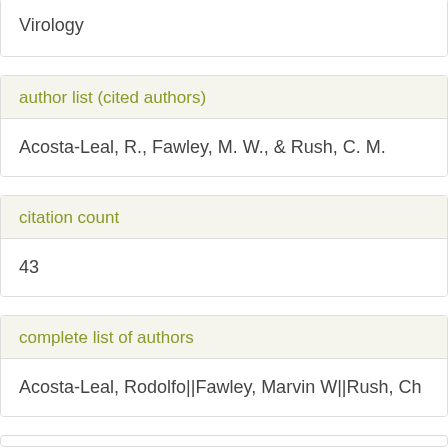Virology
author list (cited authors)
Acosta-Leal, R., Fawley, M. W., & Rush, C. M.
citation count
43
complete list of authors
Acosta-Leal, Rodolfo||Fawley, Marvin W||Rush, Ch